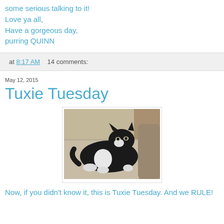some serious talking to it!
Love ya all,
Have a gorgeous day,
purring QUINN
at 8:17 AM    14 comments:
May 12, 2015
Tuxie Tuesday
[Figure (photo): Black and white tuxedo cat lying on a grey upholstered chair/sofa arm, looking at camera]
Now, if you didn't know it, this is Tuxie Tuesday. And we RULE!